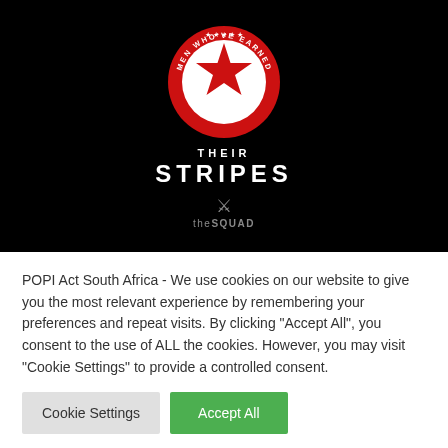[Figure (logo): Black banner image with a circular red badge logo reading 'MEN WHO'VE EARNED' around the edge with a red star in the center, white text below reading 'THEIR STRIPES', and a small winged logo with text 'theSQUAD' at the bottom.]
POPI Act South Africa - We use cookies on our website to give you the most relevant experience by remembering your preferences and repeat visits. By clicking "Accept All", you consent to the use of ALL the cookies. However, you may visit "Cookie Settings" to provide a controlled consent.